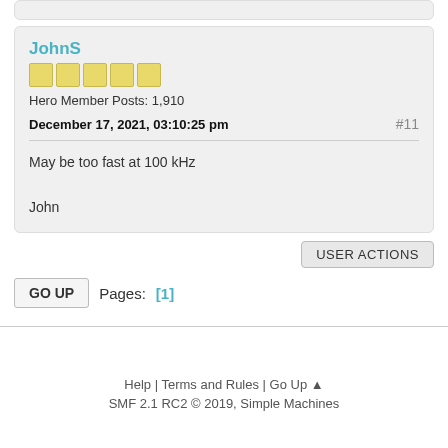JohnS
Hero Member Posts: 1,910
December 17, 2021, 03:10:25 pm #11
May be too fast at 100 kHz

John
USER ACTIONS
GO UP  Pages: [1]
Help | Terms and Rules | Go Up ▲
SMF 2.1 RC2 © 2019, Simple Machines